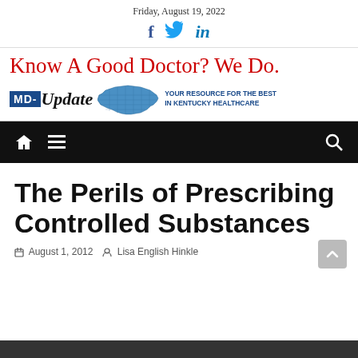Friday, August 19, 2022
[Figure (logo): MD-Update logo with tagline 'Know A Good Doctor? We Do.' and Kentucky state map, with text 'YOUR RESOURCE FOR THE BEST IN KENTUCKY HEALTHCARE']
Navigation bar with home, menu, and search icons
The Perils of Prescribing Controlled Substances
August 1, 2012  Lisa English Hinkle